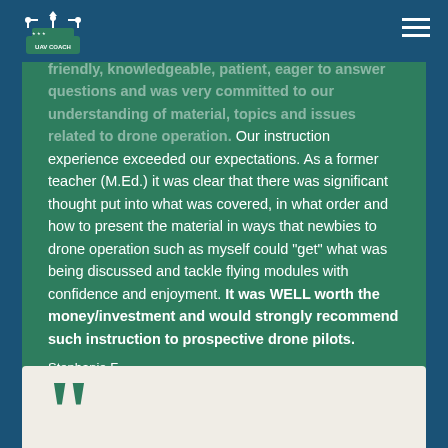UAV Coach navigation header
friendly, knowledgeable, patient, eager to answer questions and was very committed to our understanding of material, topics and issues related to drone operation. Our instruction experience exceeded our expectations. As a former teacher (M.Ed.) it was clear that there was significant thought put into what was covered, in what order and how to present the material in ways that newbies to drone operation such as myself could “get” what was being discussed and tackle flying modules with confidence and enjoyment. It was WELL worth the money/investment and would strongly recommend such instruction to prospective drone pilots.
Stephanie F
[Figure (other): Opening quotation mark decoration at bottom of page in teal color on cream background card]